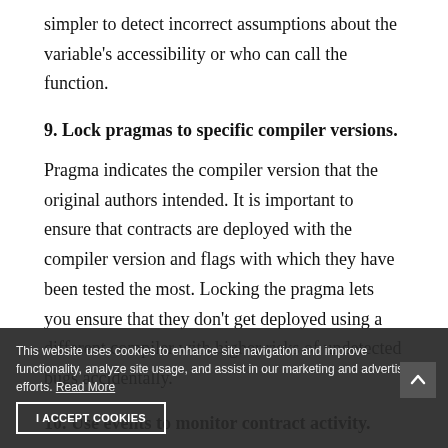simpler to detect incorrect assumptions about the variable's accessibility or who can call the function.
9. Lock pragmas to specific compiler versions.
Pragma indicates the compiler version that the original authors intended. It is important to ensure that contracts are deployed with the compiler version and flags with which they have been tested the most. Locking the pragma lets you ensure that they don't get deployed using a different compiler with higher risks of undetected bugs accidentally.
10. Use events to monitor contract activity.
Having a way to monitor your contract's activity